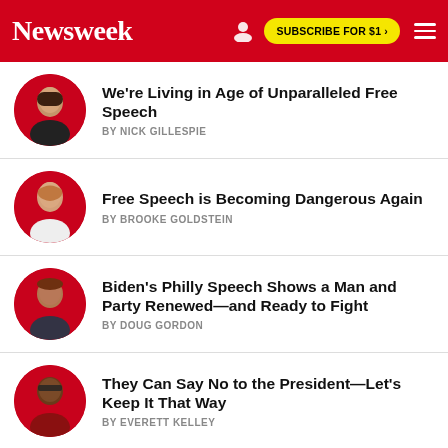Newsweek | SUBSCRIBE FOR $1 >
We're Living in Age of Unparalleled Free Speech
BY NICK GILLESPIE
Free Speech is Becoming Dangerous Again
BY BROOKE GOLDSTEIN
Biden's Philly Speech Shows a Man and Party Renewed—and Ready to Fight
BY DOUG GORDON
They Can Say No to the President—Let's Keep It That Way
BY EVERETT KELLEY
Mikhail Gorbachev Was Not the Savior of the World